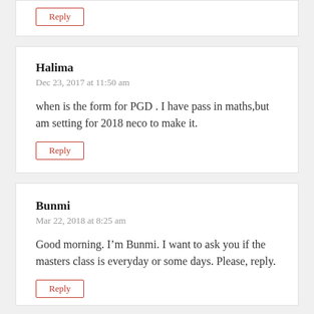Reply
Halima
Dec 23, 2017 at 11:50 am
when is the form for PGD . I have pass in maths,but am setting for 2018 neco to make it.
Reply
Bunmi
Mar 22, 2018 at 8:25 am
Good morning. I'm Bunmi. I want to ask you if the masters class is everyday or some days. Please, reply.
Reply